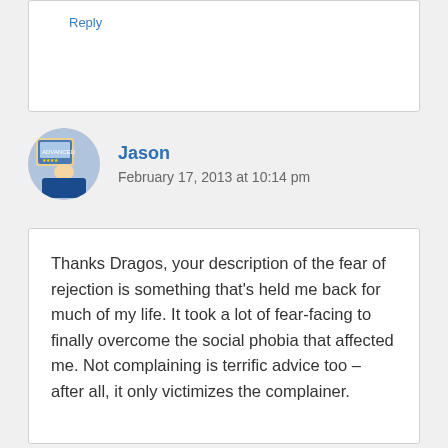Reply
Jason
February 17, 2013 at 10:14 pm
Thanks Dragos, your description of the fear of rejection is something that’s held me back for much of my life. It took a lot of fear-facing to finally overcome the social phobia that affected me. Not complaining is terrific advice too – after all, it only victimizes the complainer.